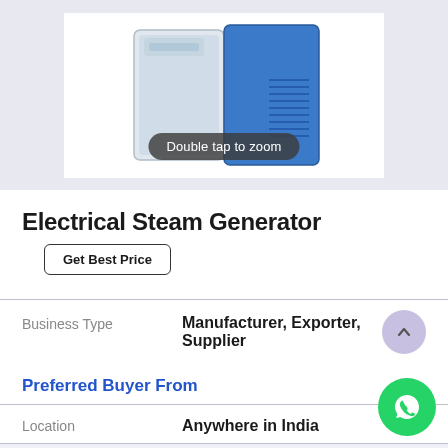[Figure (photo): Electrical steam generator product photo (white and blue machine) with 'Double tap to zoom' tooltip overlay]
Electrical Steam Generator
Get Best Price
| Business Type |  |
| --- | --- |
| Business Type | Manufacturer, Exporter, Supplier |
Preferred Buyer From
| Location |  |
| --- | --- |
| Location | Anywhere in India |